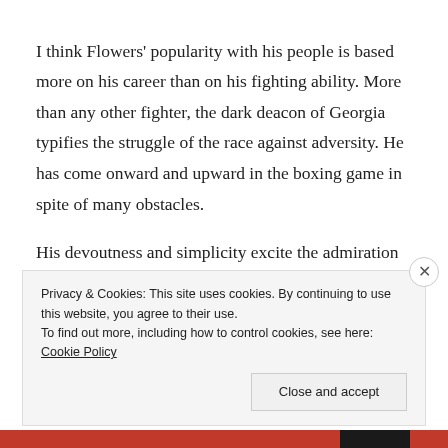I think Flowers' popularity with his people is based more on his career than on his fighting ability. More than any other fighter, the dark deacon of Georgia typifies the struggle of the race against adversity. He has come onward and upward in the boxing game in spite of many obstacles.
His devoutness and simplicity excite the admiration of the colored people. They know that it is on the level with him. A lot of our white fighters might take example from the dark deacon. It wouldn't hurt them to adopt his
Privacy & Cookies: This site uses cookies. By continuing to use this website, you agree to their use.
To find out more, including how to control cookies, see here: Cookie Policy
Close and accept